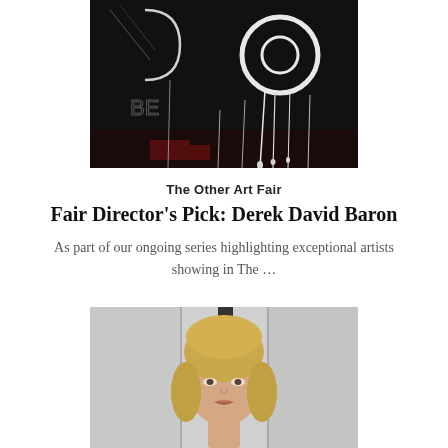[Figure (photo): Abstract dark artwork with white paint drips and circular forms on a black background, partially cropped at top]
The Other Art Fair
Fair Director's Pick: Derek David Baron
As part of our ongoing series highlighting exceptional artists showing in The …
[Figure (photo): Portrait photo of a blonde woman, cropped at bottom of page, with a light grey paneled background]